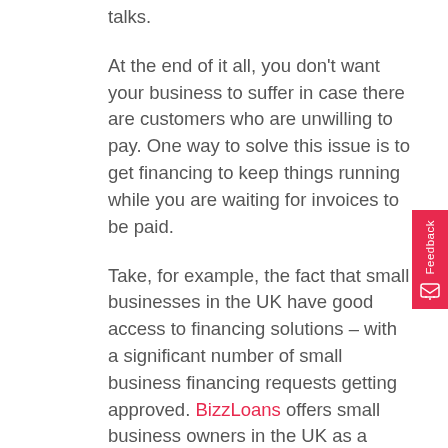talks.
At the end of it all, you don't want your business to suffer in case there are customers who are unwilling to pay. One way to solve this issue is to get financing to keep things running while you are waiting for invoices to be paid.
Take, for example, the fact that small businesses in the UK have good access to financing solutions – with a significant number of small business financing requests getting approved. BizzLoans offers small business owners in the UK as a convenient way to finance their business needs. Business loans can also help you grow your business, with unsecured loan options requiring no collateral and little documentation. Start your search by